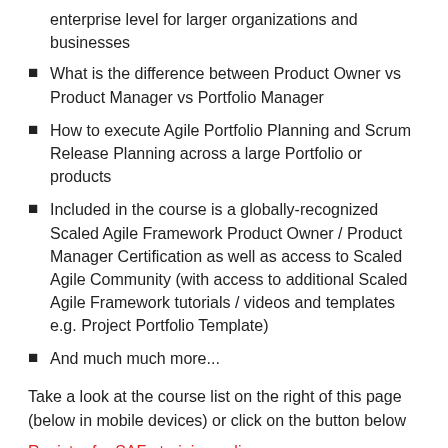enterprise level for larger organizations and businesses
What is the difference between Product Owner vs Product Manager vs Portfolio Manager
How to execute Agile Portfolio Planning and Scrum Release Planning across a large Portfolio or products
Included in the course is a globally-recognized Scaled Agile Framework Product Owner / Product Manager Certification as well as access to Scaled Agile Community (with access to additional Scaled Agile Framework tutorials / videos and templates e.g. Project Portfolio Template)
And much much more...
Take a look at the course list on the right of this page (below in mobile devices) or click on the button below
Register for SAFe training online
As a Scaled Agile Academy